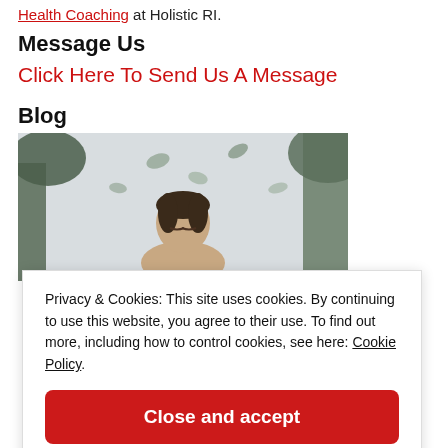Health Coaching at Holistic RI.
Message Us
Click Here To Send Us A Message
Blog
[Figure (photo): Woman meditating with eyes closed, surrounded by trees and leaves in a light background]
Privacy & Cookies: This site uses cookies. By continuing to use this website, you agree to their use. To find out more, including how to control cookies, see here: Cookie Policy
Close and accept